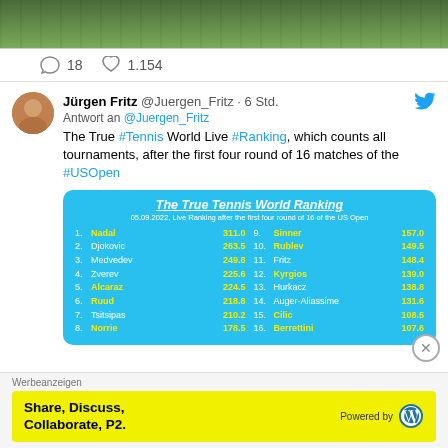[Figure (photo): Top portion of a sports/tennis image showing green court surface]
18  1.154
[Figure (photo): Avatar/profile photo of Jürgen Fritz]
Jürgen Fritz @Juergen_Fritz · 6 Std.
Antwort an @Juergen_Fritz
The True #Tennis World Live #Ranking, which counts all tournaments, after the first four round of 16 matches of the #USOpen
[Figure (table-as-image): The True Tennis World Ranking card showing 16 players with their scores. 05.09.2022, Live Ranking after the first four round of 16 of the US Open. 1. Nadal 311.0, 2. Djokovic 263.5, 3. Medvedev 249.8, 4. Zverev 225.6, 5. Alcaraz 224.5, 6. Ruud 218.8, 7. Tsitsipas 210.2, 8. Norrie 178.5, 9. Sinner 157.0, 10. Rublev 149.5, 11. Fritz 148.4, 12. Kyrgios 139.0, 13. Hurkacz 138.8, 14. Auger-Aliassime 131.6, 15. Cilic 108.5, 16. Berrettini 107.6]
Werbeanzeigen
Share, Discuss, Collaborate, P2.
Powered by